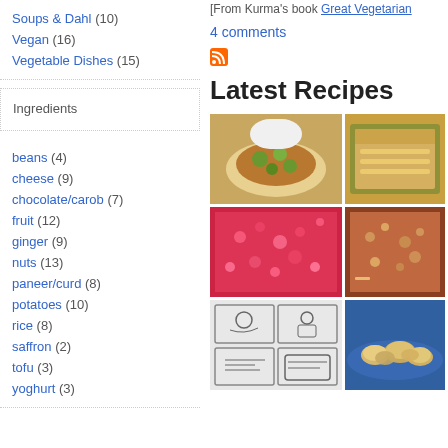Soups & Dahl (10)
Vegan (16)
Vegetable Dishes (15)
Ingredients
beans (4)
cheese (9)
chocolate/carob (7)
fruit (12)
ginger (9)
nuts (13)
paneer/curd (8)
potatoes (10)
rice (8)
saffron (2)
tofu (3)
yoghurt (3)
[From Kurma's book Great Vegetarian...
4 comments
Latest Recipes
[Figure (photo): Grid of 6 food photos: curry dish, baked dish, red rice/grain dish, lentil bake, illustrated cooking steps, cookies on plate]